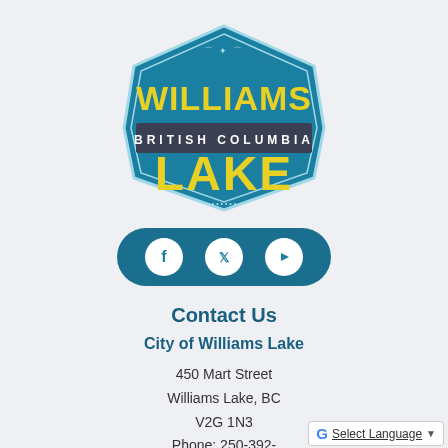[Figure (logo): Williams Lake British Columbia badge logo — hexagonal blue badge with yellow text reading WILLIAMS LAKE and a dark banner reading BRITISH COLUMBIA]
[Figure (infographic): Social media icons pill — teal rounded pill containing Facebook, Twitter, and YouTube icons in white circles]
Contact Us
City of Williams Lake
450 Mart Street
Williams Lake, BC
V2G 1N3
Phone: 250-392-
[Figure (screenshot): Google Translate bar showing G logo, Select Language text, and dropdown arrow]